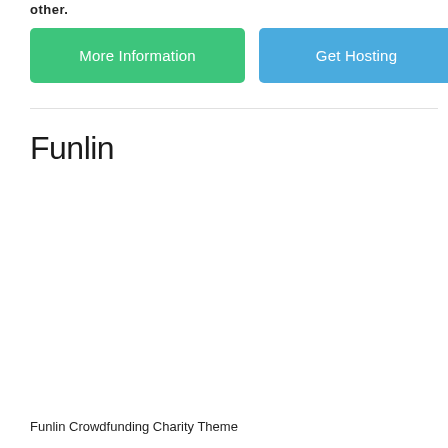other.
More Information
Get Hosting
Funlin
Funlin Crowdfunding Charity Theme